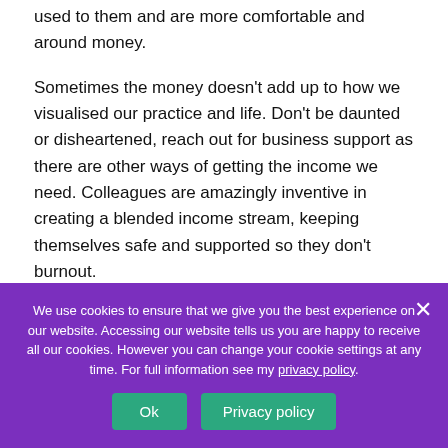used to them and are more comfortable and around money.
Sometimes the money doesn't add up to how we visualised our practice and life. Don't be daunted or disheartened, reach out for business support as there are other ways of getting the income we need. Colleagues are amazingly inventive in creating a blended income stream, keeping themselves safe and supported so they don't burnout.
We use cookies to ensure that we give you the best experience on our website. Accessing our website tells us you are happy to receive all our cookies. However you can change your cookie settings at any time. For full information see my privacy policy.